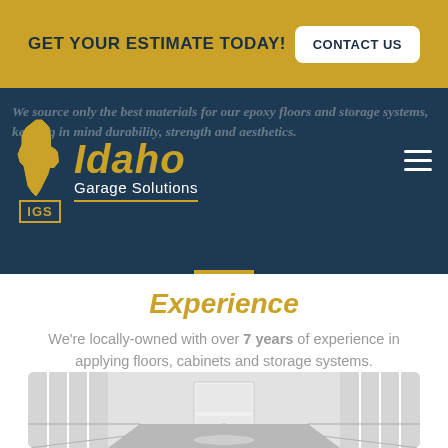GET YOUR ESTIMATE TODAY! | CONTACT US
[Figure (logo): Idaho Garage Solutions (IGS) logo with Idaho state outline in gold and white text on dark blue background]
We source only the best materials for our epoxy floors and storage systems, keeping in mind durability, strength and aesthetics.
Experience
We're locally-owned with over 7 years of experience in applying floors, cabinets and storage systems.
[Figure (photo): Interior photo of an empty garage with white wall panels and a gray epoxy floor, showing the garage from inside looking toward a door]